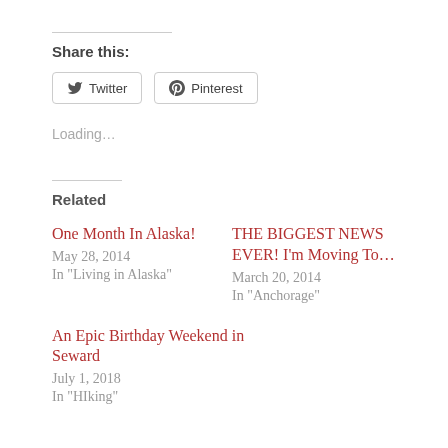Share this:
Twitter  Pinterest
Loading…
Related
One Month In Alaska!
May 28, 2014
In "Living in Alaska"
THE BIGGEST NEWS EVER! I'm Moving To…
March 20, 2014
In "Anchorage"
An Epic Birthday Weekend in Seward
July 1, 2018
In "HIking"